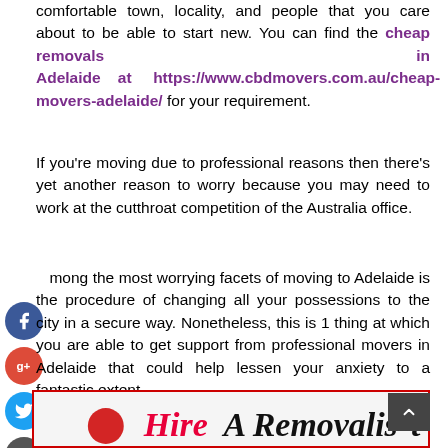comfortable town, locality, and people that you care about to be able to start new. You can find the cheap removals in Adelaide at https://www.cbdmovers.com.au/cheap-movers-adelaide/ for your requirement.
If you're moving due to professional reasons then there's yet another reason to worry because you may need to work at the cutthroat competition of the Australia office.
Among the most worrying facets of moving to Adelaide is the procedure of changing all your possessions to the city in a secure way. Nonetheless, this is 1 thing at which you are able to get support from professional movers in Adelaide that could help lessen your anxiety to a fantastic extent.
[Figure (illustration): Bottom banner image with text 'Hire A Removalist' in italic script with a person wearing a red cap visible on the left side]